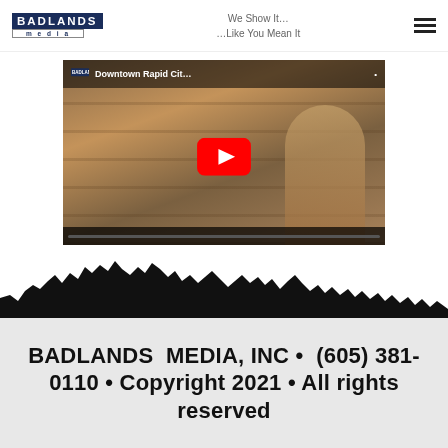BADLANDS media — We Show It… …Like You Mean It
[Figure (screenshot): YouTube video thumbnail showing 'Downtown Rapid Cit...' with a woman in a store, YouTube play button overlay, Badlands Media logo in top-left of video]
[Figure (illustration): Black silhouette of jagged mountain/hills (Black Hills) dividing white content area from grey footer]
BADLANDS MEDIA, INC • (605) 381-0110 • Copyright 2021 • All rights reserved